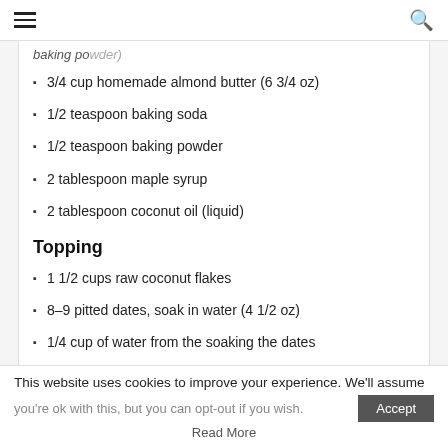[hamburger menu] [search icon]
baking powder)
3/4 cup homemade almond butter (6 3/4 oz)
1/2 teaspoon baking soda
1/2 teaspoon baking powder
2 tablespoon maple syrup
2 tablespoon coconut oil (liquid)
Topping
1 1/2 cups raw coconut flakes
8–9 pitted dates, soak in water (4 1/2 oz)
1/4 cup of water from the soaking the dates
This website uses cookies to improve your experience. We'll assume you're ok with this, but you can opt-out if you wish. Accept Read More